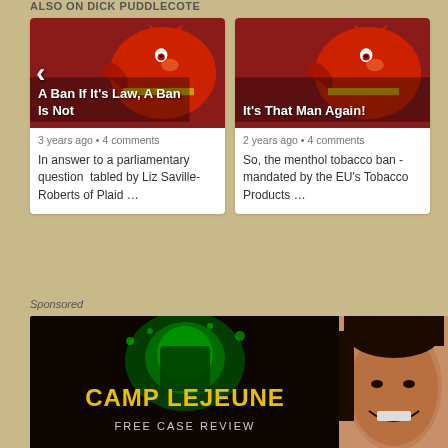ALSO ON DICK PUDDLECOTE
[Figure (screenshot): Card image showing red devil mascot with text overlay: A Ban If It's Law, A Ban Is Not]
3 years ago • 4 comments
In answer to a parliamentary question  tabled by Liz Saville-Roberts of Plaid …
[Figure (screenshot): Card image showing red devil mascot with text overlay: It's That Man Again!]
2 years ago • 4 comments
So, the menthol tobacco ban - mandated by the EU's Tobacco Products …
Sponsored
[Figure (photo): Camp Lejeune advertisement: dark background with green drink splash, text CAMP LEJEUNE FREE CASE REVIEW in yellow block letters]
[Figure (photo): Photo of a smiling person with long dark hair, partial view on right side]